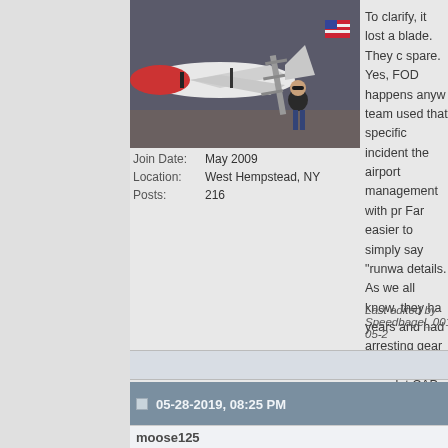[Figure (photo): User avatar photo showing a man standing in front of a military aircraft (appearing to be an F/A-18 Hornet or similar jet) inside a hangar. The aircraft is red, white, and black.]
Join Date: May 2009
Location: West Hempstead, NY
Posts: 216
To clarify, it lost a blade. They c spare. Yes, FOD happens anyw team used that specific incident the airport management with pr Far easier to simply say "runwa details. As we all know, they ha years and had arresting gear in wouldn't even let CAP or Suffol photo opp. I was there early Mo to depart but was notified that t Delaware. The team was going KISP to pick up their gear befor outcome as I left around 9am.

In contrast, the Navy folks were fans and officials. Was able to h the TAC Demo Super Hornets.
Last edited by Speedbagel_001; 05-2
05-28-2019, 08:25 PM
moose125